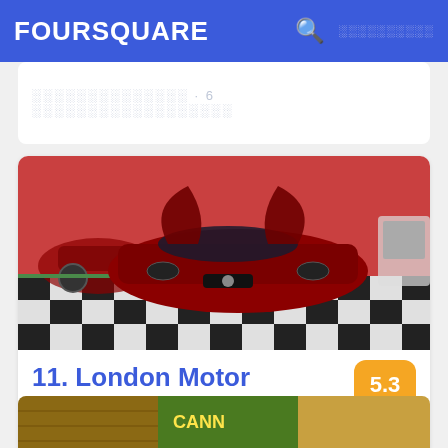FOURSQUARE
░░░░░░░░░░░░░░ · 6 ░░░░░░░░░░░░░░░░░░
[Figure (photo): Interior of London Motor Museum showing a dark red sports car with open doors on a black and white checkered floor, with other vintage cars visible in the background]
11. London Motor Museum
3 Nestles Ave, Hayes, Greater London
░░░░░░░░░ · 30 ░░░░░░░░░░░░░░░░░░░░░
[Figure (photo): Partial bottom image showing another venue listing]